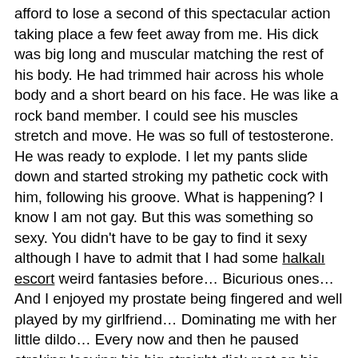afford to lose a second of this spectacular action taking place a few feet away from me. His dick was big long and muscular matching the rest of his body. He had trimmed hair across his whole body and a short beard on his face. He was like a rock band member. I could see his muscles stretch and move. He was so full of testosterone. He was ready to explode. I let my pants slide down and started stroking my pathetic cock with him, following his groove. What is happening? I know I am not gay. But this was something so sexy. You didn't have to be gay to find it sexy although I have to admit that I had some halkalı escort weird fantasies before… Bicurious ones… And I enjoyed my prostate being fingered and well played by my girlfriend… Dominating me with her little dildo… Every now and then he paused stroking leaving his big straight dick rest on his washboard abs… It was so long, reaching way above his belly button. I could clearly see it from this distance. I even took a picture with my cellphone. The light from his laptop screen was rendering him almost blind, unable to see beyond it, or at least that's what I thought. I was able to distinguish his eyes